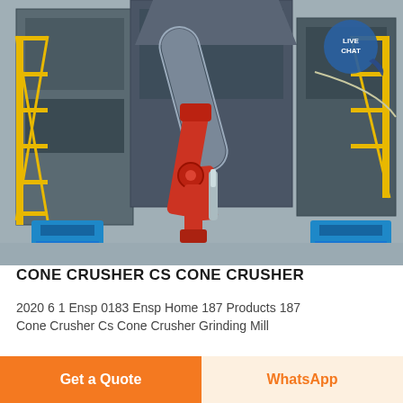[Figure (photo): Industrial cone crusher / grinding mill facility interior showing large grey steel machinery structures, yellow scaffolding/stairs on left, a prominent red robotic arm or mechanical linkage in the center, blue equipment at bottom, ducting and pipes, and a LIVE CHAT bubble overlay in top right corner.]
CONE CRUSHER CS CONE CRUSHER
2020 6 1 Ensp 0183 Ensp Home 187 Products 187 Cone Crusher Cs Cone Crusher Grinding Mill
Get a Quote
WhatsApp